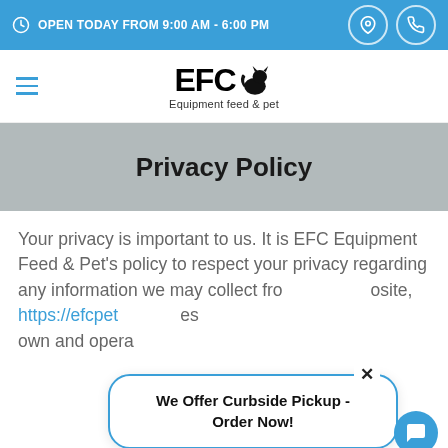OPEN TODAY FROM 9:00 AM - 6:00 PM
[Figure (logo): EFC Equipment feed & pet logo with dog/cat silhouette icon]
Privacy Policy
Your privacy is important to us. It is EFC Equipment Feed & Pet's policy to respect your privacy regarding any information we may collect from https://efcpet... own and opera...
We Offer Curbside Pickup - Order Now!